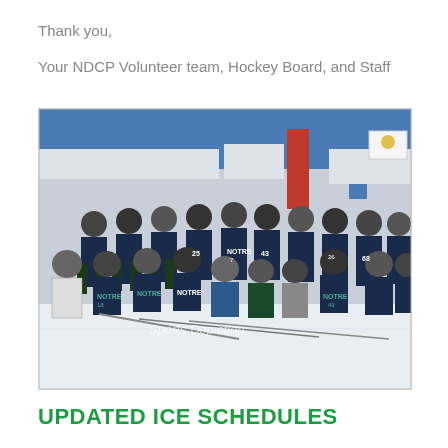Thank you,
Your NDCP Volunteer team, Hockey Board, and Staff
[Figure (photo): Group photo of Notre Dame hockey team in navy and green jerseys, posing on ice rink. Players wearing helmets, two rows plus coaches kneeling in front. Sports Depiction watermark visible.]
UPDATED ICE SCHEDULES